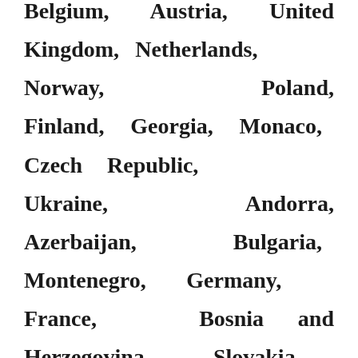Belgium, Austria, United Kingdom, Netherlands, Norway, Poland, Finland, Georgia, Monaco, Czech Republic, Ukraine, Andorra, Azerbaijan, Bulgaria, Montenegro, Germany, France, Bosnia and Herzegovina, Slovakia, Greece, Latvia, Albania, Sweden, Kosovo, Hungary, Estonia, Portugal, Macedonia, Serbia, Italy,